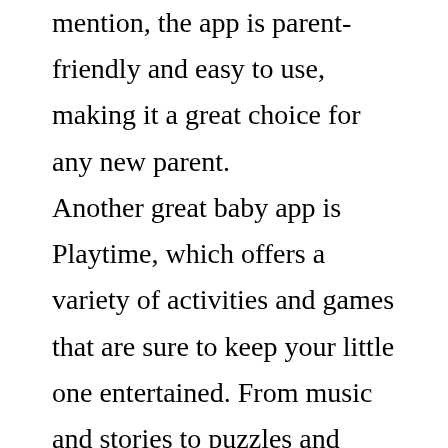mention, the app is parent-friendly and easy to use, making it a great choice for any new parent.
Another great baby app is Playtime, which offers a variety of activities and games that are sure to keep your little one entertained. From music and stories to puzzles and crafts, Playtime has something for everyone. And as an added bonus, the app is also parent-friendly and easy to use, meaning you can